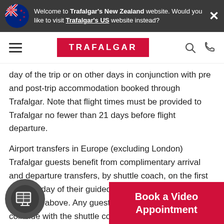Welcome to Trafalgar's New Zealand website. Would you like to visit Trafalgar's US website instead?
[Figure (logo): Trafalgar logo red rectangle with white text]
day of the trip or on other days in conjunction with pre and post-trip accommodation booked through Trafalgar. Note that flight times must be provided to Trafalgar no fewer than 21 days before flight departure.
Airport transfers in Europe (excluding London) Trafalgar guests benefit from complimentary arrival and departure transfers, by shuttle coach, on the first and last day of their guided holiday at the times specified above. Any guests whose flight times do not coincide with the shuttle coach transfer timings may choose to use a private transfer. first day or leaving after the purchase a transfer through